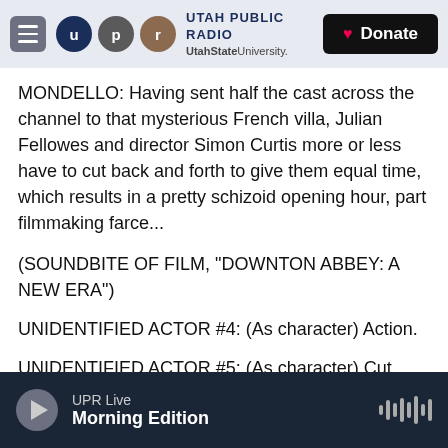Utah Public Radio | UtahStateUniversity. | Donate
MONDELLO: Having sent half the cast across the channel to that mysterious French villa, Julian Fellowes and director Simon Curtis more or less have to cut back and forth to give them equal time, which results in a pretty schizoid opening hour, part filmmaking farce...
(SOUNDBITE OF FILM, "DOWNTON ABBEY: A NEW ERA")
UNIDENTIFIED ACTOR #4: (As character) Action.
UNIDENTIFIED ACTOR #5: (As character) Cut.
UPR Live | Morning Edition